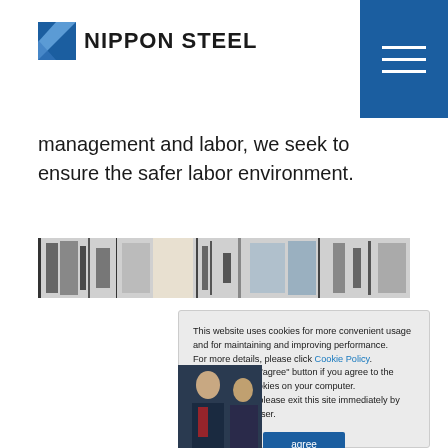NIPPON STEEL
management and labor, we seek to ensure the safer labor environment.
[Figure (photo): Horizontal photo strip showing industrial/workplace scenes in grayscale]
This website uses cookies for more convenient usage and for maintaining and improving performance.
For more details, please click Cookie Policy.
Please click the "agree" button if you agree to the placement of cookies on your computer.
If you disagree, please exit this site immediately by closing this browser.
[Figure (photo): Partial photo of people in suits at an event or meeting]